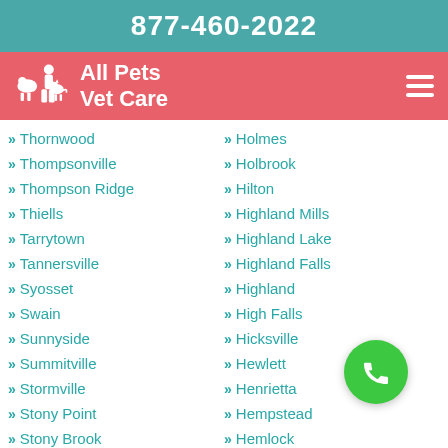877-460-2022
[Figure (logo): All Pets Vet Care logo with white silhouette of pets and person on red/coral background]
Thornwood
Thompsonville
Thompson Ridge
Thiells
Tarrytown
Tannersville
Syosset
Swain
Sunnyside
Summitville
Stormville
Stony Point
Stony Brook
Holmes
Holbrook
Hilton
Highland Mills
Highland Lake
Highland Falls
Highland
High Falls
Hicksville
Hewlett
Henrietta
Hempstead
Hemlock